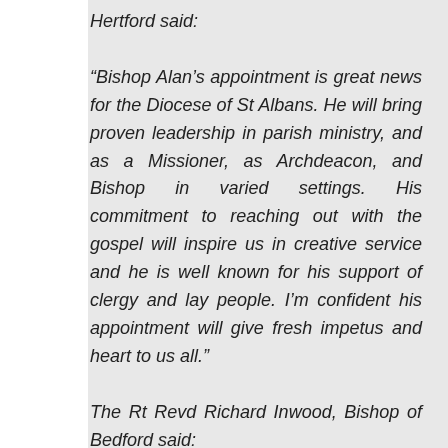Hertford said:
“Bishop Alan’s appointment is great news for the Diocese of St Albans. He will bring proven leadership in parish ministry, and as a Missioner, as Archdeacon, and Bishop in varied settings. His commitment to reaching out with the gospel will inspire us in creative service and he is well known for his support of clergy and lay people. I’m confident his appointment will give fresh impetus and heart to us all.”
The Rt Revd Richard Inwood, Bishop of Bedford said: